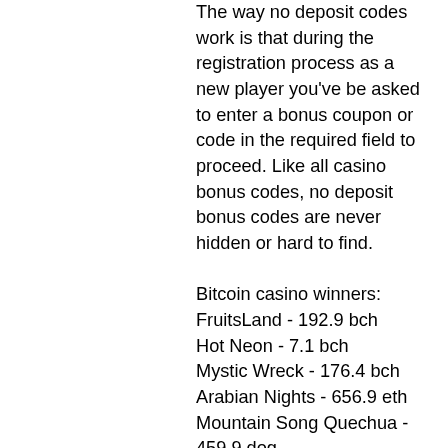The way no deposit codes work is that during the registration process as a new player you've be asked to enter a bonus coupon or code in the required field to proceed. Like all casino bonus codes, no deposit bonus codes are never hidden or hard to find.
Bitcoin casino winners:
FruitsLand - 192.9 bch
Hot Neon - 7.1 bch
Mystic Wreck - 176.4 bch
Arabian Nights - 656.9 eth
Mountain Song Quechua - 459.9 dog
Queen of Riches - 300.5 eth
Zombiezee Money - 121.4 ltc
Booming Seven - 672.1 bch
Samba Brazil - 314 eth
Island 2 - 682.6 eth
Dragon Palace - 97.2 bch
Gladiator of Rome - 257.7 btc
KTV - 597.7 ltc